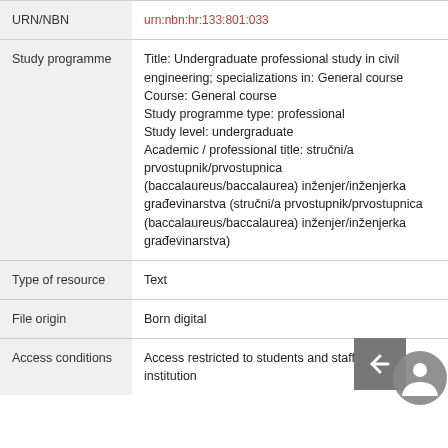| Field | Value |
| --- | --- |
| URN/NBN | urn:nbn:hr:133:801:033 |
| Study programme | Title: Undergraduate professional study in civil engineering; specializations in: General course
Course: General course
Study programme type: professional
Study level: undergraduate
Academic / professional title: stručni/a prvostupnik/prvostupnica (baccalaureus/baccalaurea) inženjer/inženjerka građevinarstva (stručni/a prvostupnik/prvostupnica (baccalaureus/baccalaurea) inženjer/inženjerka građevinarstva) |
| Type of resource | Text |
| File origin | Born digital |
| Access conditions | Access restricted to students and staff of home institution |